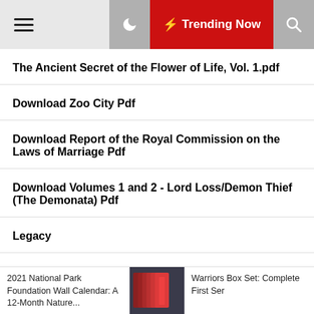☰ ☾ ⚡ Trending Now 🔍
The Ancient Secret of the Flower of Life, Vol. 1.pdf
Download Zoo City Pdf
Download Report of the Royal Commission on the Laws of Marriage Pdf
Download Volumes 1 and 2 - Lord Loss/Demon Thief (The Demonata) Pdf
Legacy
Download The Twisted Ones (Five Nights at Freddy's Graphic Novel
2021 National Park Foundation Wall Calendar: A 12-Month Nature... | Warriors Box Set: Complete First Ser